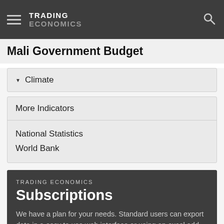TRADING ECONOMICS
Mali Government Budget
Climate
More Indicators
National Statistics
World Bank
TRADING ECONOMICS Subscriptions
We have a plan for your needs. Standard users can export data in a easy to use web interface or using an excel add-in. Advanced users can use